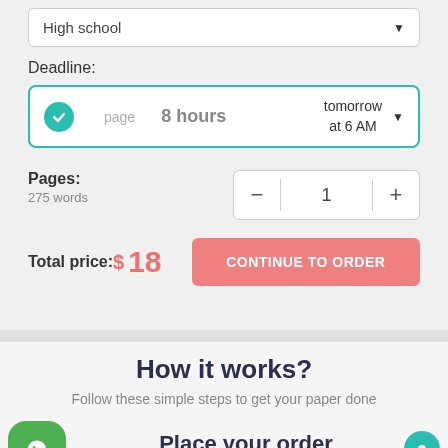High school
Deadline:
page  8 hours  tomorrow at 6 AM
Pages:
275 words
Total price: $18
CONTINUE TO ORDER
How it works?
Follow these simple steps to get your paper done
Place your order